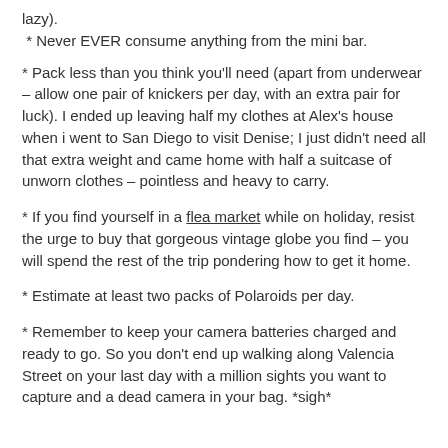lazy).  * Never EVER consume anything from the mini bar.
* Pack less than you think you'll need (apart from underwear – allow one pair of knickers per day, with an extra pair for luck). I ended up leaving half my clothes at Alex's house when i went to San Diego to visit Denise; I just didn't need all that extra weight and came home with half a suitcase of unworn clothes – pointless and heavy to carry.
* If you find yourself in a flea market while on holiday, resist the urge to buy that gorgeous vintage globe you find – you will spend the rest of the trip pondering how to get it home.
* Estimate at least two packs of Polaroids per day.
* Remember to keep your camera batteries charged and ready to go. So you don't end up walking along Valencia Street on your last day with a million sights you want to capture and a dead camera in your bag. *sigh*